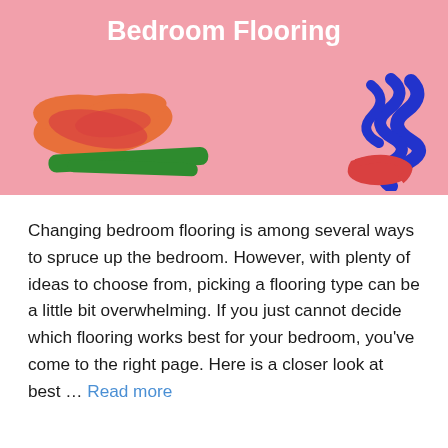[Figure (illustration): Pink banner header with colorful abstract doodle illustrations: orange/red flower-like blob with green base on the left, blue spiral with red scribble on the right. Text 'Bedroom Flooring' in bold white centered at top.]
Bedroom Flooring
Changing bedroom flooring is among several ways to spruce up the bedroom. However, with plenty of ideas to choose from, picking a flooring type can be a little bit overwhelming. If you just cannot decide which flooring works best for your bedroom, you’ve come to the right page. Here is a closer look at best … Read more